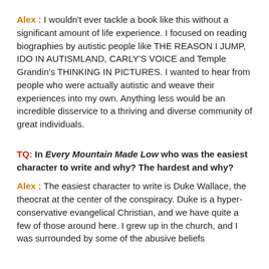Alex :  I wouldn't ever tackle a book like this without a significant amount of life experience. I focused on reading biographies by autistic people like THE REASON I JUMP, IDO IN AUTISMLAND, CARLY'S VOICE and Temple Grandin's THINKING IN PICTURES. I wanted to hear from people who were actually autistic and weave their experiences into my own. Anything less would be an incredible disservice to a thriving and diverse community of great individuals.
TQ:  In Every Mountain Made Low who was the easiest character to write and why? The hardest and why?
Alex :  The easiest character to write is Duke Wallace, the theocrat at the center of the conspiracy. Duke is a hyper-conservative evangelical Christian, and we have quite a few of those around here. I grew up in the church, and I was surrounded by some of the abusive beliefs